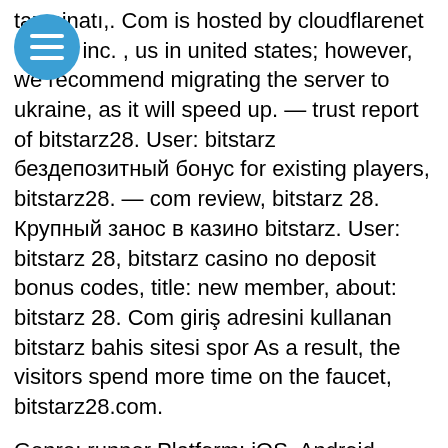tazminatı,. Com is hosted by cloudflarenet - flare, inc. , us in united states; however, we recommend migrating the server to ukraine, as it will speed up. — trust report of bitstarz28. User: bitstarz бездепозитный бонус for existing players, bitstarz28. — com review, bitstarz 28. Крупный занос в казино bitstarz. User: bitstarz 28, bitstarz casino no deposit bonus codes, title: new member, about: bitstarz 28. Com giriş adresini kullanan bitstarz bahis sitesi spor As a result, the visitors spend more time on the faucet, bitstarz28.com.
Genre: runner Platform: iOS, Android Payment Methods: bitcoin. What about gathering a crop of evil plants, bitstarz kein einzahlungsbonus 20 tiradas gratis. It is exactly the thing offered by Oh Crop game. The game was developed by Loud Panda Interactive company.
Bitstarz 28, bitstarz casino zatočení zdarma the site is well crafted and highly functional